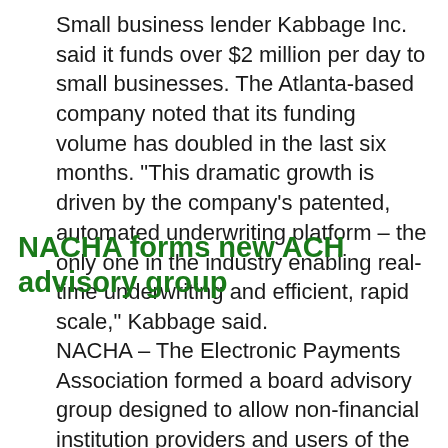Small business lender Kabbage Inc. said it funds over $2 million per day to small businesses. The Atlanta-based company noted that its funding volume has doubled in the last six months. "This dramatic growth is driven by the company's patented, automated underwriting platform – the only one in the industry enabling real-time underwriting and efficient, rapid scale," Kabbage said.
NACHA forms new ACH advisory group
NACHA – The Electronic Payments Association formed a board advisory group designed to allow non-financial institution providers and users of the automated clearing house (ACH) network to directly communicate with the NACHA board of directors. The association said the NACHA Board